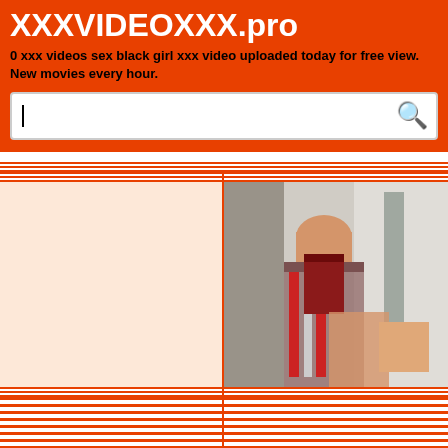XXXVIDEOXXX.pro
0 xxx videos sex black girl xxx video uploaded today for free view. New movies every hour.
[Figure (screenshot): Search bar with cursor and search icon on white background]
[Figure (photo): Video thumbnail showing a person in a room with towels]
[Figure (other): Orange and white horizontal stripe pattern blocks filling bottom portion of page]